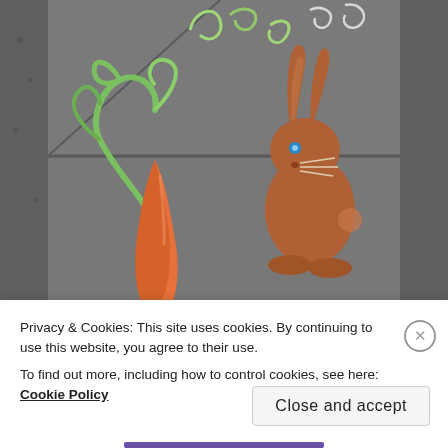[Figure (photo): Chalk art on a sidewalk/pavement showing a brown rabbit with blue eyes sitting next to a large orange carrot with green swirling leafy tops. The background is dark gray concrete with visible expansion joints. The surrounding area shows gravel/dirt.]
Privacy & Cookies: This site uses cookies. By continuing to use this website, you agree to their use.
To find out more, including how to control cookies, see here: Cookie Policy